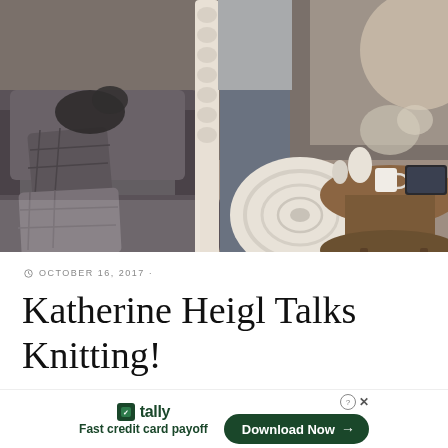[Figure (photo): Interior living room scene with grey armchairs, a large ball of chunky white yarn on the floor, a person standing in grey leggings holding a rope-like knitting needle, a cat resting on one of the chairs, and a round side table with a mug and tablet on the right.]
OCTOBER 16, 2017
Katherine Heigl Talks Knitting!
FREE
[Figure (other): Advertisement banner: Tally app - Fast credit card payoff, with Download Now button]